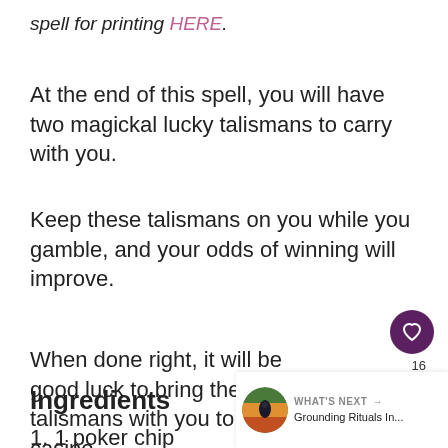spell for printing HERE.
At the end of this spell, you will have two magickal lucky talismans to carry with you.
Keep these talismans on you while you gamble, and your odds of winning will improve.
When done right, it will be good luck to bring these talismans with you to the casino.
Ingredients
1.  1 poker chip